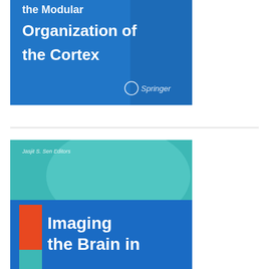[Figure (illustration): Book cover with blue background showing title 'the Modular Organization of the Cortex' and Springer logo]
[Figure (illustration): Book cover with teal/blue background and orange accent showing 'Jaspit S. Sen, Editors' and title 'Imaging the Brain in']